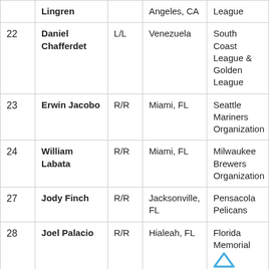| # | Name | B/T | Hometown | Organization |
| --- | --- | --- | --- | --- |
|  | Lingren |  | Angeles, CA | League |
| 22 | Daniel Chafferdet | L/L | Venezuela | South Coast League & Golden League |
| 23 | Erwin Jacobo | R/R | Miami, FL | Seattle Mariners Organization |
| 24 | William Labata | R/R | Miami, FL | Milwaukee Brewers Organization |
| 27 | Jody Finch | R/R | Jacksonville, FL | Pensacola Pelicans |
| 28 | Joel Palacio | R/R | Hialeah, FL | Florida Memorial |